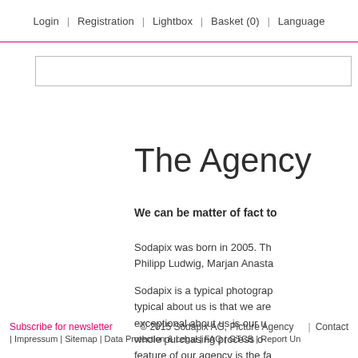Login | Registration | Lightbox | Basket (0) | Language
[Figure (other): Search input box]
The Agency
We can be matter of fact to…
Sodapix was born in 2005. Th… Philipp Ludwig, Marjan Anasta…
Sodapix is a typical photograp… typical about us is that we are… exceptional about us is our u… whole purchasing process o… feature of our agency is the fa… those you are used to from ot… portal are outstanding.
Subscribe for newsletter   © 2015 Sodapix AG, Picture Agency | Contact